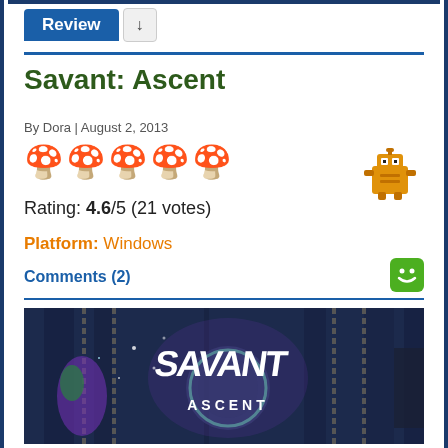Review
Savant: Ascent
By Dora | August 2, 2013
[Figure (illustration): Five red mushroom icons representing a 4.6 out of 5 star rating]
Rating: 4.6/5 (21 votes)
Platform: Windows
Comments (2)
[Figure (screenshot): Savant: Ascent game screenshot showing the game's title logo in white lightning-bolt style text over a purple and teal ornate background with chains, and a character on the left side]